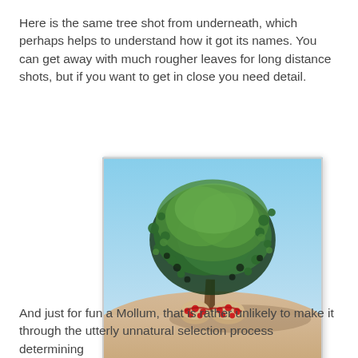Here is the same tree shot from underneath, which perhaps helps to understand how it got its names. You can get away with much rougher leaves for long distance shots, but if you want to get in close you need detail.
[Figure (illustration): A 3D rendered tree viewed from underneath, showing a dense green canopy against a light blue sky. The tree grows out of sandy desert ground and appears to have unusual root structures or creatures at its base — stocky figures with red spotted markings sitting in the sand beneath the trunk.]
And just for fun a Mollum, that is rather unlikely to make it through the utterly unnatural selection process determining